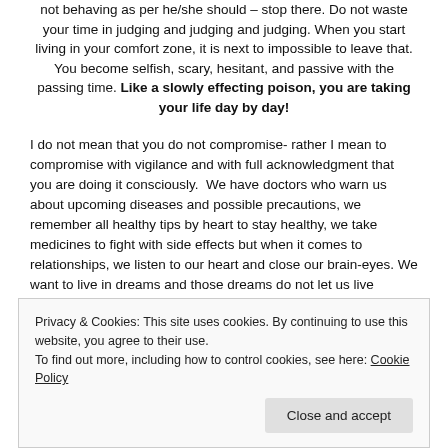not behaving as per he/she should – stop there. Do not waste your time in judging and judging and judging. When you start living in your comfort zone, it is next to impossible to leave that. You become selfish, scary, hesitant, and passive with the passing time. Like a slowly effecting poison, you are taking your life day by day!
I do not mean that you do not compromise- rather I mean to compromise with vigilance and with full acknowledgment that you are doing it consciously. We have doctors who warn us about upcoming diseases and possible precautions, we remember all healthy tips by heart to stay healthy, we take medicines to fight with side effects but when it comes to relationships, we listen to our heart and close our brain-eyes. We want to live in dreams and those dreams do not let us live according to our will. Therefore, it is worth keeping track of all your decisions and get tips from the professionals in time to save your future and its related happiness.
Privacy & Cookies: This site uses cookies. By continuing to use this website, you agree to their use.
To find out more, including how to control cookies, see here: Cookie Policy
Close and accept